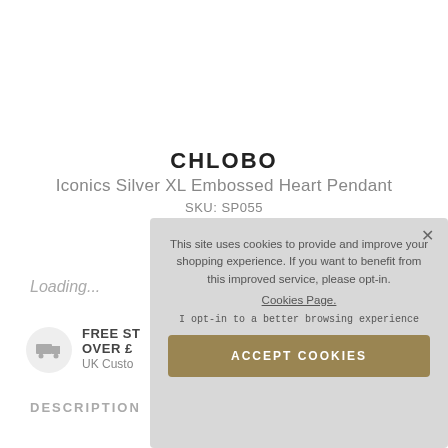CHLOBO
Iconics Silver XL Embossed Heart Pendant
SKU: SP055
Loading...
FREE ST...
OVER £...
UK Custo...
DESCRIPTION
This site uses cookies to provide and improve your shopping experience. If you want to benefit from this improved service, please opt-in.
Cookies Page.
I opt-in to a better browsing experience
ACCEPT COOKIES